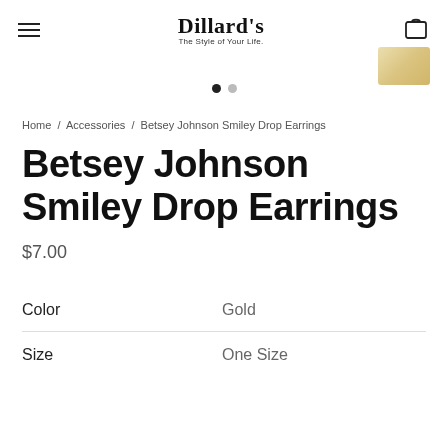Dillard's — The Style of Your Life.
[Figure (photo): Partial product thumbnail image of gold earrings in upper right corner]
Home / Accessories / Betsey Johnson Smiley Drop Earrings
Betsey Johnson Smiley Drop Earrings
$7.00
Color   Gold
Size   One Size